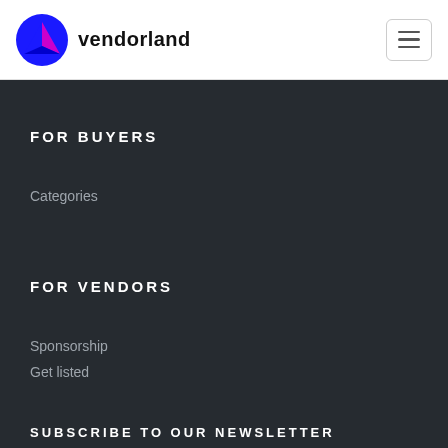vendorland
FOR BUYERS
Categories
FOR VENDORS
Sponsorship
Get listed
SUBSCRIBE TO OUR NEWSLETTER